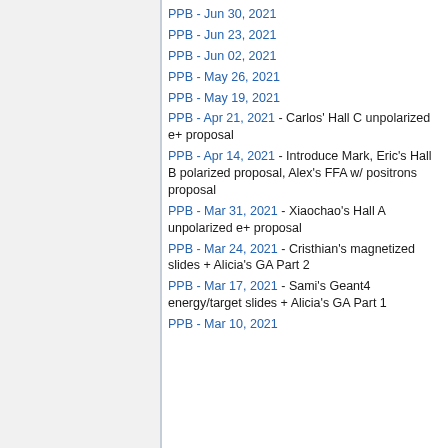PPB - Jun 30, 2021
PPB - Jun 23, 2021
PPB - Jun 02, 2021
PPB - May 26, 2021
PPB - May 19, 2021
PPB - Apr 21, 2021 - Carlos' Hall C unpolarized e+ proposal
PPB - Apr 14, 2021 - Introduce Mark, Eric's Hall B polarized proposal, Alex's FFA w/ positrons proposal
PPB - Mar 31, 2021 - Xiaochao's Hall A unpolarized e+ proposal
PPB - Mar 24, 2021 - Cristhian's magnetized slides + Alicia's GA Part 2
PPB - Mar 17, 2021 - Sami's Geant4 energy/target slides + Alicia's GA Part 1
PPB - Mar 10, 2021